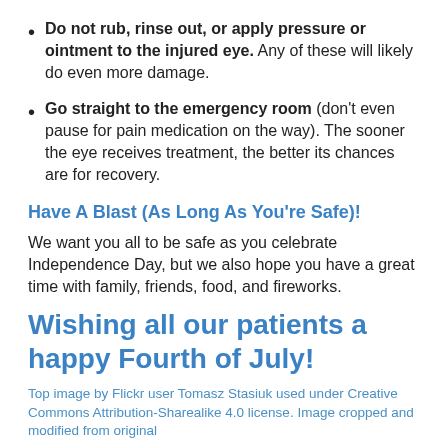Do not rub, rinse out, or apply pressure or ointment to the injured eye. Any of these will likely do even more damage.
Go straight to the emergency room (don't even pause for pain medication on the way). The sooner the eye receives treatment, the better its chances are for recovery.
Have A Blast (As Long As You're Safe)!
We want you all to be safe as you celebrate Independence Day, but we also hope you have a great time with family, friends, food, and fireworks.
Wishing all our patients a happy Fourth of July!
Top image by Flickr user Tomasz Stasiuk used under Creative Commons Attribution-Sharealike 4.0 license. Image cropped and modified from original